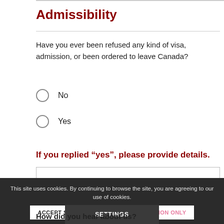Admissibility
Have you ever been refused any kind of visa, admission, or been ordered to leave Canada?
No
Yes
If you replied “yes”, please provide details.
This site uses cookies. By continuing to browse the site, you are agreeing to our use of cookies.
ACCEPT SETTINGS
HIDE NOTIFICATION ONLY
SETTINGS
How did you hear about us?